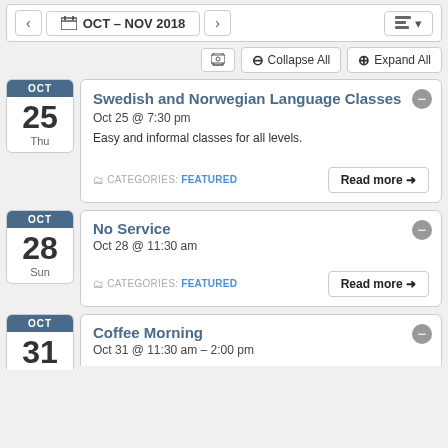OCT – NOV 2018
Collapse All   Expand All
Swedish and Norwegian Language Classes
Oct 25 @ 7:30 pm
Easy and informal classes for all levels.
CATEGORIES: FEATURED
No Service
Oct 28 @ 11:30 am
CATEGORIES: FEATURED
Coffee Morning
Oct 31 @ 11:30 am – 2:00 pm